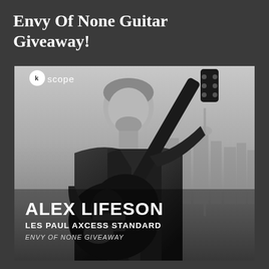Envy Of None Guitar Giveaway!
[Figure (photo): Black and white promotional photo of Alex Lifeson holding a Les Paul Axcess Standard guitar, with a city skyline in the background. The Kscope record label logo appears in the top left corner. Overlay text reads: ALEX LIFESON / LES PAUL AXCESS STANDARD / ENVY OF NONE GIVEAWAY]